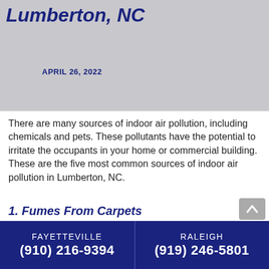Lumberton, NC
APRIL 26, 2022
There are many sources of indoor air pollution, including chemicals and pets. These pollutants have the potential to irritate the occupants in your home or commercial building. These are the five most common sources of indoor air pollution in Lumberton, NC.
1. Fumes From Carpets
Carpet off-gas is a potential source of indoor pollution because it contains volatile organic
FAYETTEVILLE (910) 216-9394   RALEIGH (919) 246-5801